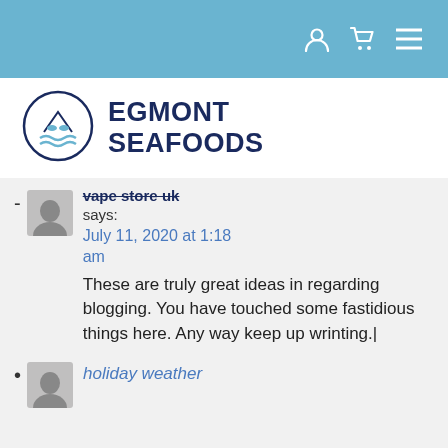Navigation header with user, cart, and menu icons
[Figure (logo): Egmont Seafoods logo with circular fish emblem and bold dark blue text]
vape store uk says:
July 11, 2020 at 1:18 am
These are truly great ideas in regarding blogging. You have touched some fastidious things here. Any way keep up wrinting.|
holiday weather